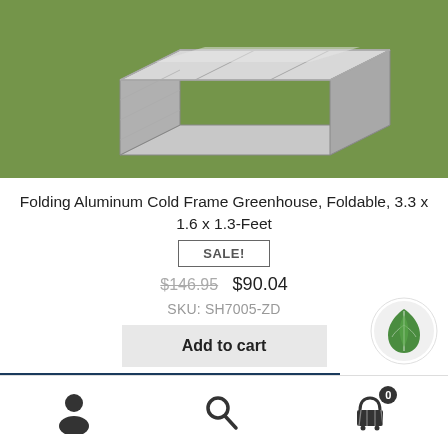[Figure (photo): Folding aluminum cold frame greenhouse sitting on green grass, showing silver aluminum frame and clear polycarbonate panels]
Folding Aluminum Cold Frame Greenhouse, Foldable, 3.3 x 1.6 x 1.3-Feet
SALE!
$146.95  $90.04
SKU: SH7005-ZD
Add to cart